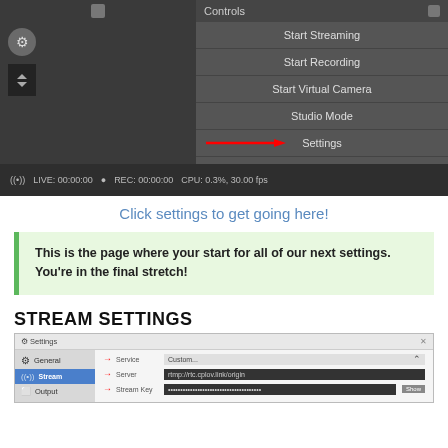[Figure (screenshot): OBS Studio Controls panel showing buttons: Start Streaming, Start Recording, Start Virtual Camera, Studio Mode, Settings (with red arrow pointing to it), Exit. Status bar shows LIVE: 00:00:00, REC: 00:00:00, CPU: 0.3%, 30.00 fps.]
Click settings to get going here!
This is the page where your start for all of our next settings. You're in the final stretch!
STREAM SETTINGS
[Figure (screenshot): OBS Settings window showing sidebar with General and Stream selected, and fields for Service (Custom...), Server (rtmp://rtc.cplov.link/origin), and Stream Key (hidden with dots), with red arrows pointing to each field and a Show button.]